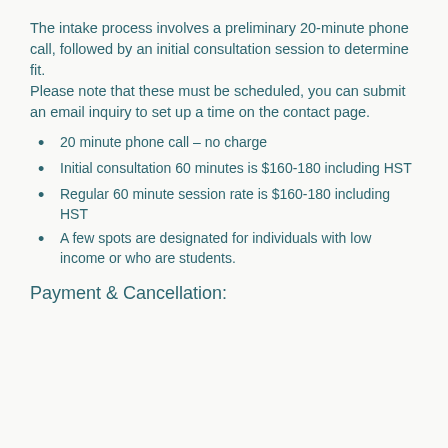The intake process involves a preliminary 20-minute phone call, followed by an initial consultation session to determine fit. Please note that these must be scheduled, you can submit an email inquiry to set up a time on the contact page.
20 minute phone call – no charge
Initial consultation 60 minutes is $160-180 including HST
Regular 60 minute session rate is $160-180 including HST
A few spots are designated for individuals with low income or who are students.
Payment & Cancellation: